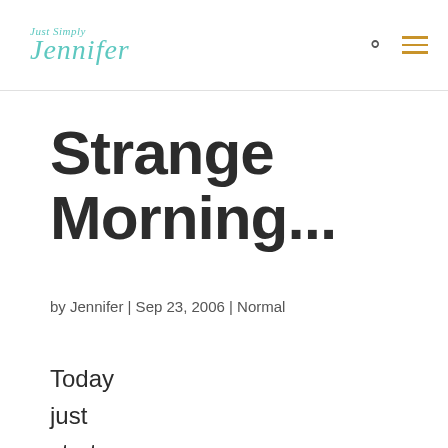Just Simply Jennifer
Strange Morning...
by Jennifer | Sep 23, 2006 | Normal
Today just starte d off